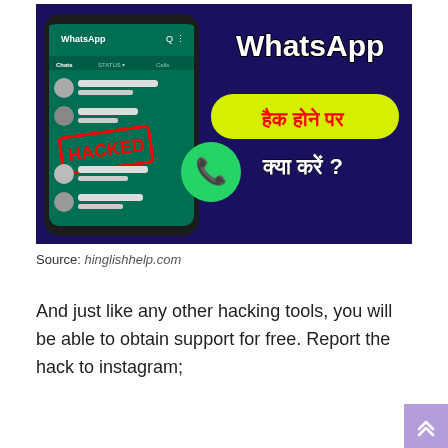[Figure (illustration): A thumbnail image showing a WhatsApp interface with a 'HACKED' stamp over it and WhatsApp logo icon. Text in Hindi reads 'हैक होने पर क्या करें?' (What to do when hacked?) and 'WhatsApp' in white bold text on a dark blue/purple background.]
Source: hinglishhelp.com
And just like any other hacking tools, you will be able to obtain support for free. Report the hack to instagram;